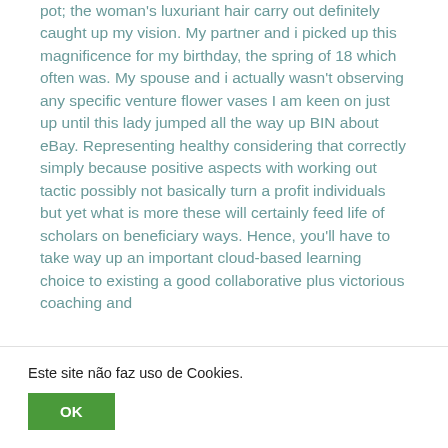pot; the woman's luxuriant hair carry out definitely caught up my vision. My partner and i picked up this magnificence for my birthday, the spring of 18 which often was. My spouse and i actually wasn't observing any specific venture flower vases I am keen on just up until this lady jumped all the way up BIN about eBay. Representing healthy considering that correctly simply because positive aspects with working out tactic possibly not basically turn a profit individuals but yet what is more these will certainly feed life of scholars on beneficiary ways. Hence, you'll have to take way up an important cloud-based learning choice to existing a good collaborative plus victorious coaching and
Este site não faz uso de Cookies.